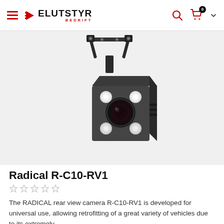Elutstyr Bedrift — navigation header with logo, search and cart icons
[Figure (photo): Close-up photo of a Radical R-C10-RV1 rear view camera. A small black cube-shaped camera housing with four white LED lights at the corners and a central circular lens. The camera is mounted on a metal bracket with screws at the top. Background is light gray/white.]
Radical R-C10-RV1
[Figure (other): Five empty (unfilled) star rating icons indicating no reviews yet]
The RADICAL rear view camera R-C10-RV1 is developed for universal use, allowing retrofitting of a great variety of vehicles due to its extremely